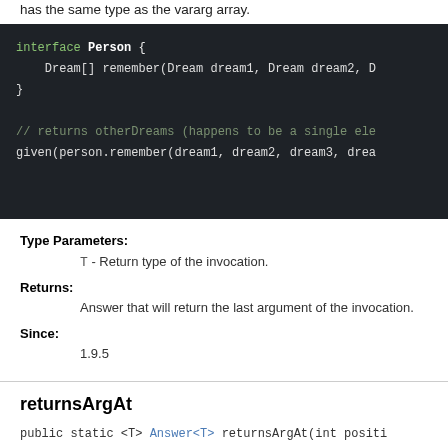has the same type as the vararg array.
[Figure (screenshot): Dark-themed code block showing Java interface Person with remember method and a comment line with given() call.]
Type Parameters:
T - Return type of the invocation.
Returns:
Answer that will return the last argument of the invocation.
Since:
1.9.5
returnsArgAt
public static <T> Answer<T> returnsArgAt(int positi...